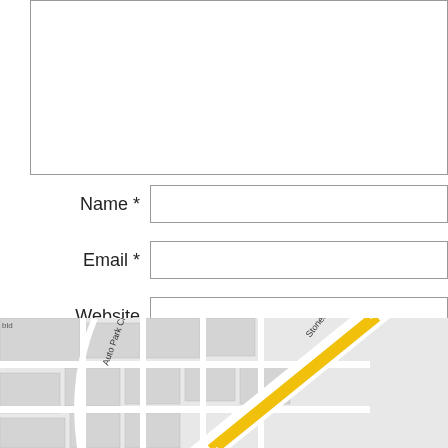[Figure (screenshot): Comment form textarea (empty, top portion visible)]
Name *
Email *
Website
Post Comment
[Figure (map): Street map showing Auto Park Cir and Stonecroft Blvd intersection with yellow road markings]